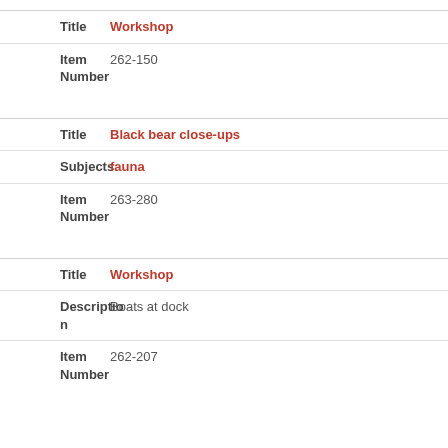| Field | Value |
| --- | --- |
| Title | Workshop |
| Item Number | 262-150 |
| Field | Value |
| --- | --- |
| Title | Black bear close-ups |
| Subjects | fauna |
| Item Number | 263-280 |
| Field | Value |
| --- | --- |
| Title | Workshop |
| Description | Boats at dock |
| Item Number | 262-207 |